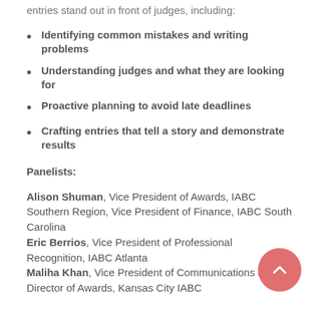entries stand out in front of judges, including:
Identifying common mistakes and writing problems
Understanding judges and what they are looking for
Proactive planning to avoid late deadlines
Crafting entries that tell a story and demonstrate results
Panelists:
Alison Shuman, Vice President of Awards, IABC Southern Region, Vice President of Finance, IABC South Carolina
Eric Berrios, Vice President of Professional Recognition, IABC Atlanta
Maliha Khan, Vice President of Communications and Director of Awards, Kansas City IABC